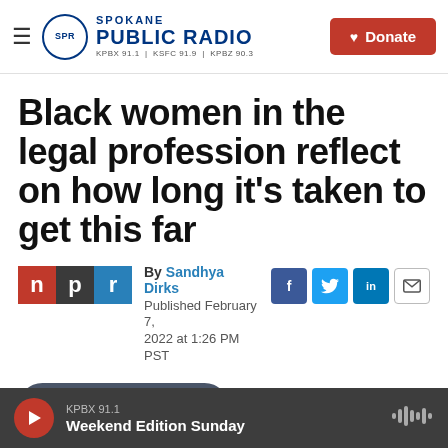Spokane Public Radio — KPBX 91.1 | KSFC 91.9 | KPBZ 90.3 | Donate
Black women in the legal profession reflect on how long it's taken to get this far
By Sandhya Dirks
Published February 7, 2022 at 1:26 PM PST
[Figure (other): LISTEN • 4:10 audio player button]
KPBX 91.1 — Weekend Edition Sunday